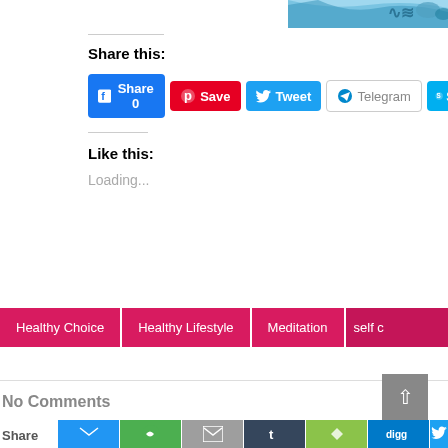[Figure (illustration): Partial decorative image visible at top right corner with blue/teal colors and design elements]
Share this:
Share 0
Save
Tweet
Telegram
Sh
Like this:
Loading...
Healthy Choice
Healthy Lifestyle
Meditation
self c
No Comments
Share